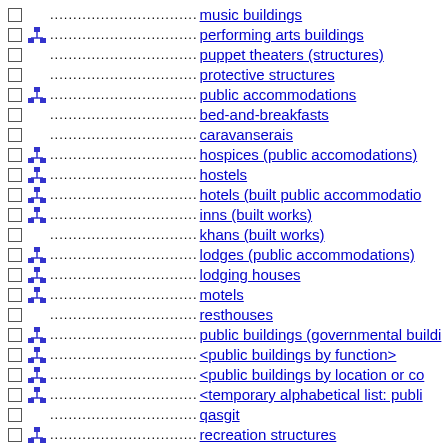music buildings
performing arts buildings
puppet theaters (structures)
protective structures
public accommodations
bed-and-breakfasts
caravanserais
hospices (public accomodations)
hostels
hotels (built public accommodations)
inns (built works)
khans (built works)
lodges (public accommodations)
lodging houses
motels
resthouses
public buildings (governmental buildings)
<public buildings by function>
<public buildings by location or context>
<temporary alphabetical list: public buildings>
qasgit
recreation structures